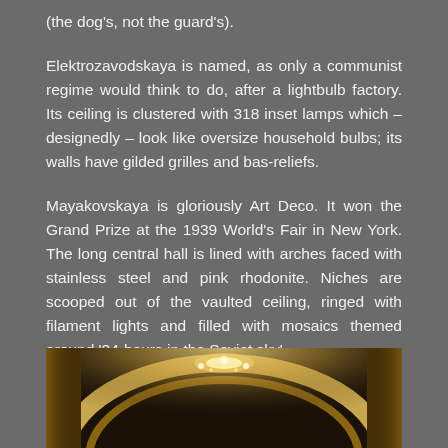(the dog's, not the guard's).
Elektrozavodskaya is named, as only a communist regime would think to do, after a lightbulb factory. Its ceiling is clustered with 318 inset lamps which – designedly – look like oversize household bulbs; its walls have gilded grilles and bas-reliefs.
Mayakovskaya is gloriously Art Deco. It won the Grand Prize at the 1939 World's Fair in New York. The long central hall is lined with arches faced with stainless steel and pink rhodonite. Niches are scooped out of the vaulted ceiling, ringed with filament lights and filled with mosaics themed around '24-hours in the Soviet sky'.
[Figure (photo): Interior photograph of an ornate metro station ceiling with arched architecture, warm golden lighting, and decorative elements visible at the bottom of the page.]